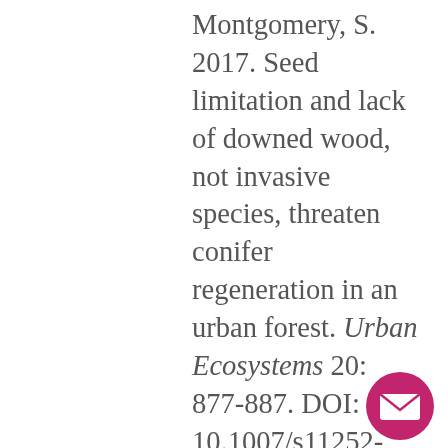Montgomery, S. 2017. Seed limitation and lack of downed wood, not invasive species, threaten conifer regeneration in an urban forest. Urban Ecosystems 20: 877-887. DOI: 10.1007/s11252-016-0640-3.
[Figure (illustration): Three colored hexagons in a row: red, blue, green (decorative divider)]
[Figure (illustration): Three colored hexagons in a row: red, blue, green (decorative divider, second instance)]
[Figure (illustration): Pink/magenta circular button with white envelope/mail icon in the bottom-right corner]